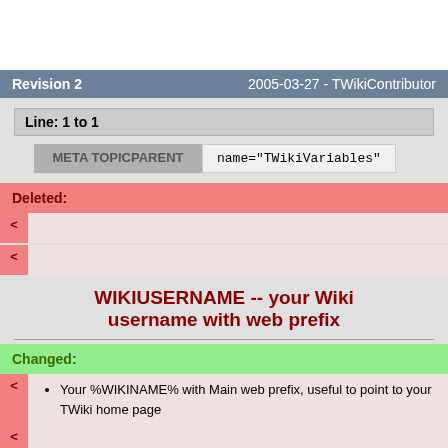Revision 2    2005-03-27 - TWikiContributor
Line: 1 to 1
META TOPICPARENT   name="TWikiVariables"
Deleted:
< 
<
WIKIUSERNAME -- your Wiki username with web prefix
Changed:
Your %WIKINAME% with Main web prefix, useful to point to your TWiki home page
Your %WIKINAME% with Main web prefix, useful to point to your TWiki home page